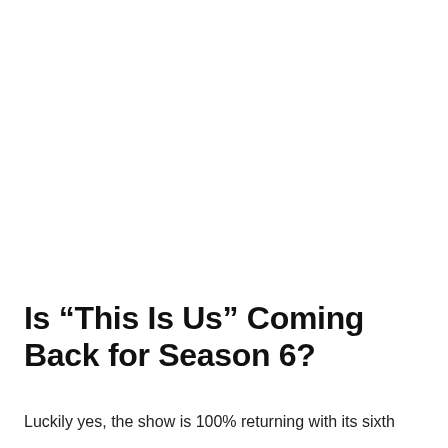Is “This Is Us” Coming Back for Season 6?
Luckily yes, the show is 100% returning with its sixth